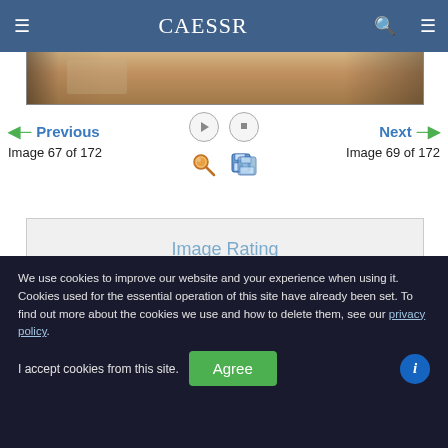CAESSR
[Figure (photo): Bottom edge of a scanned historical document showing aged brown paper texture]
[Figure (other): Playback controls: play button and stop button circles; magnify icon and save icon]
Previous
Image 67 of 172
Next
Image 69 of 172
Image Rating
We use cookies to improve our website and your experience when using it. Cookies used for the essential operation of this site have already been set. To find out more about the cookies we use and how to delete them, see our privacy policy.
I accept cookies from this site.